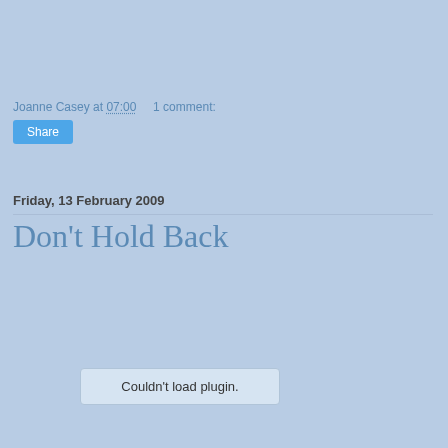Joanne Casey at 07:00    1 comment:
Share
Friday, 13 February 2009
Don't Hold Back
Couldn't load plugin.